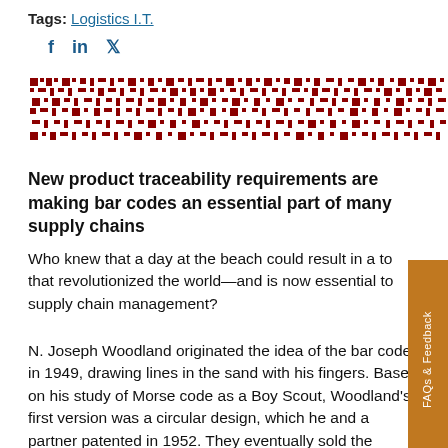Tags: Logistics I.T.
[Figure (other): 2D barcode (DataMatrix or similar) in dark red/maroon color, wide rectangular format]
New product traceability requirements are making bar codes an essential part of many supply chains
Who knew that a day at the beach could result in a technology that revolutionized the world—and is now essential to supply chain management?
N. Joseph Woodland originated the idea of the bar code in 1949, drawing lines in the sand with his fingers. Based on his study of Morse code as a Boy Scout, Woodland's first version was a circular design, which he and a partner patented in 1952. They eventually sold the patent for this bull's-eye design to radio,